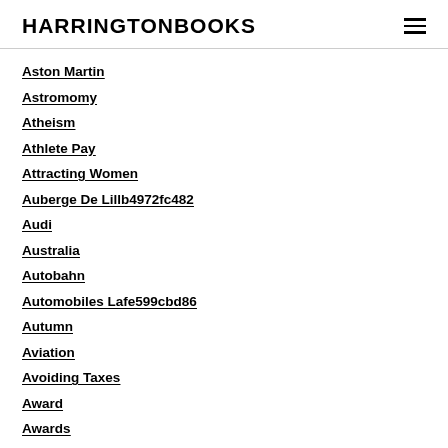HARRINGTONBOOKS
Aston Martin
Astromomy
Atheism
Athlete Pay
Attracting Women
Auberge De Lillb4972fc482
Audi
Australia
Autobahn
Automobiles Lafe599cbd86
Autumn
Aviation
Avoiding Taxes
Award
Awards
Babies